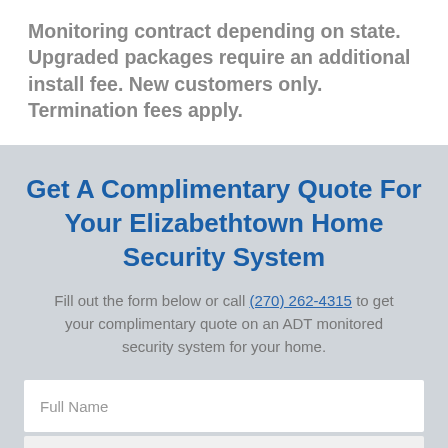Monitoring contract depending on state. Upgraded packages require an additional install fee. New customers only. Termination fees apply.
Get A Complimentary Quote For Your Elizabethtown Home Security System
Fill out the form below or call (270) 262-4315 to get your complimentary quote on an ADT monitored security system for your home.